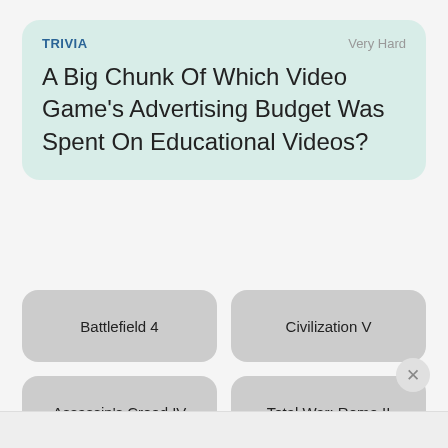TRIVIA
Very Hard
A Big Chunk Of Which Video Game's Advertising Budget Was Spent On Educational Videos?
Battlefield 4
Civilization V
Assassin's Creed IV
Total War: Rome II